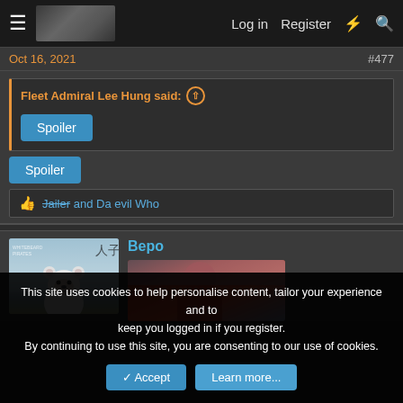Log in   Register
Oct 16, 2021   #477
Fleet Admiral Lee Hung said:
Spoiler
Spoiler
Jailer and Da evil Who
Bepo
This site uses cookies to help personalise content, tailor your experience and to keep you logged in if you register.
By continuing to use this site, you are consenting to our use of cookies.
Accept   Learn more...